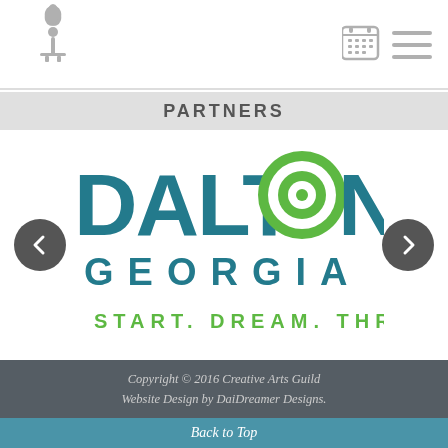[Figure (logo): Creative Arts Guild tree/leaf logo in gray, top left of header]
[Figure (logo): Calendar icon and hamburger menu icon in gray, top right of header]
PARTNERS
[Figure (logo): Dalton Georgia logo: DALTON in teal bold letters with green spiral O, GEORGIA in teal spaced letters, tagline START. DREAM. THRIVE. in green]
Copyright © 2016 Creative Arts Guild
Website Design by DaiDreamer Designs.
Back to Top